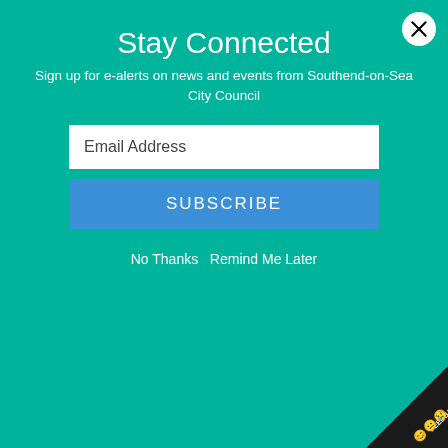Stay Connected
Sign up for e-alerts on news and events from Southend-on-Sea City Council
Email Address
SUBSCRIBE
No Thanks   Remind Me Later
household emails are sent from electoral@southend.gov.uk, please follow the instructions.
Household Canvass
Home > Health and Wellbeing >
Coronavirus Financial Support
Coronavirus Financi